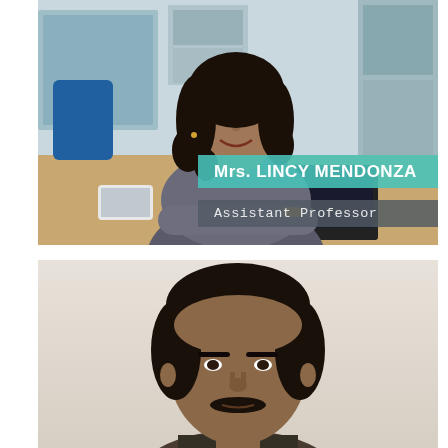[Figure (photo): Photo of Mrs. Lincy Mendonza, a woman with dark curly hair sitting at a desk with a laptop and mobile phone, smiling, in an office/classroom setting. Name overlay: 'Mrs. LINCY MENDONZA' in teal banner, 'Assistant Professor' in grey banner.]
[Figure (photo): Headshot photo of a man with dark hair and a moustache, against a light background.]